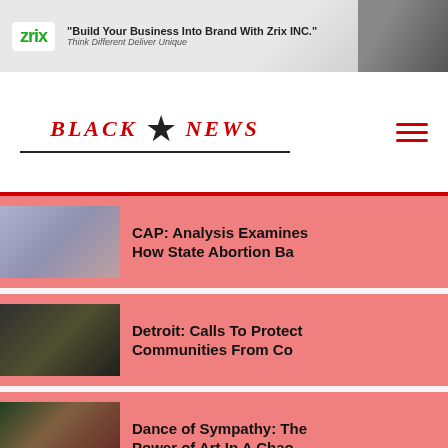[Figure (photo): Advertisement banner for Zrix INC with logo, tagline 'Build Your Business Into Brand With Zrix INC.' and 'Think Different Deliver Unique', with a person in background]
[Figure (logo): Black Star News brand logo with red gothic text 'BLACK NEWS' flanking a black star, with underline]
CAP: Analysis Examines How State Abortion Ba
Detroit: Calls To Protect Communities From Co
Dance of Sympathy: The Power of Art In A Chao
Mayor Adams' Fake Budget Defunds And Guts Edu